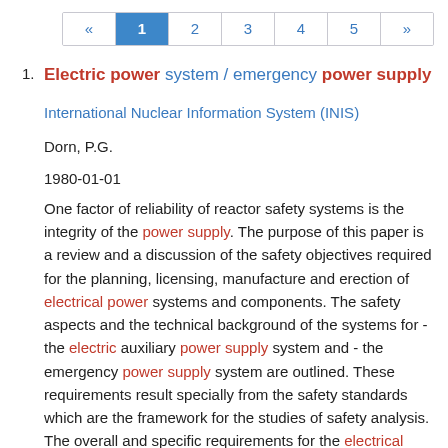« 1 2 3 4 5 »
Electric power system / emergency power supply
International Nuclear Information System (INIS)
Dorn, P.G.
1980-01-01
One factor of reliability of reactor safety systems is the integrity of the power supply. The purpose of this paper is a review and a discussion of the safety objectives required for the planning, licensing, manufacture and erection of electrical power systems and components. The safety aspects and the technical background of the systems for - the electric auxiliary power supply system and - the emergency power supply system are outlined. These requirements result specially from the safety standards which are the framework for the studies of safety analysis. The overall and specific requirements for the electrical